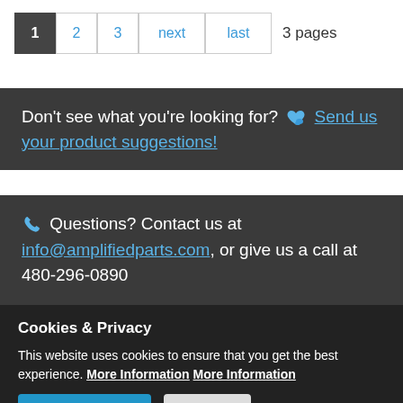1 2 3 next last 3 pages
Don't see what you're looking for? Send us your product suggestions!
Questions? Contact us at info@amplifiedparts.com, or give us a call at 480-296-0890
Cookies & Privacy
This website uses cookies to ensure that you get the best experience. More Information More Information
Accept Cookies Decline